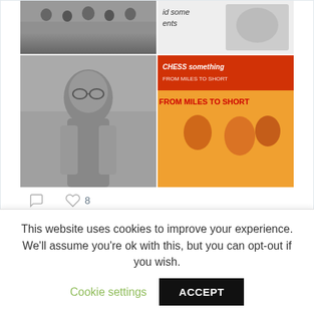[Figure (photo): Grid of 4 photos: top-left black and white group photo, top-right illustrated cartoon/book cover text, bottom-left black and white photo of man with glasses, bottom-right colorful book cover 'FROM MILES TO SHORT']
8 likes
[Figure (logo): British Chess News circular logo in black with red border]
BritishChessNews @BritishChess · Apr 4
Remembering BH Wood MSc FCS OBE (13-vii-1909 04-iv-1989)
britishchessnews.com/2020/04/04/rem…
#chess #remembering @ecfchess @Biogsguy @NBlackb24729264 @brigosling @bstephen2
This website uses cookies to improve your experience. We'll assume you're ok with this, but you can opt-out if you wish.
Cookie settings  ACCEPT